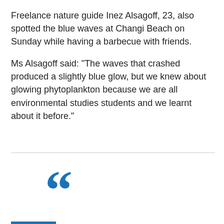Freelance nature guide Inez Alsagoff, 23, also spotted the blue waves at Changi Beach on Sunday while having a barbecue with friends.
Ms Alsagoff said: "The waves that crashed produced a slightly blue glow, but we knew about glowing phytoplankton because we are all environmental studies students and we learnt about it before."
[Figure (illustration): Large blue opening double quotation mark decorative graphic]